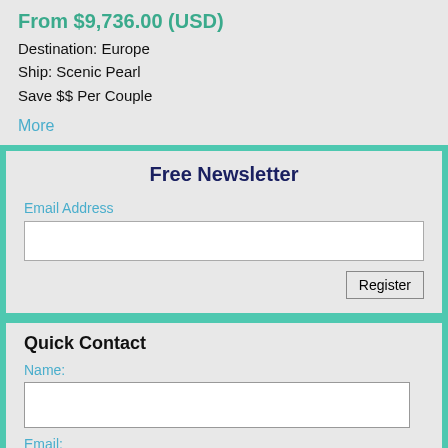From $9,736.00 (USD)
Destination: Europe
Ship: Scenic Pearl
Save $$ Per Couple
More
Free Newsletter
Email Address
Register
Quick Contact
Name:
Email:
Questions: